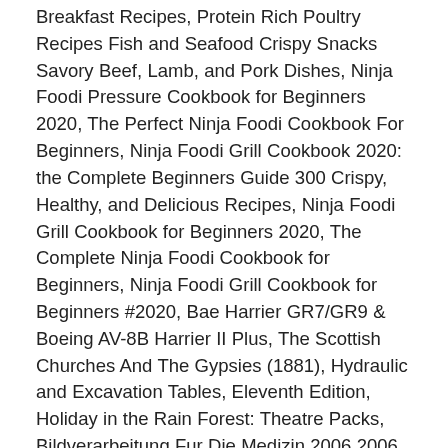Breakfast Recipes, Protein Rich Poultry Recipes Fish and Seafood Crispy Snacks Savory Beef, Lamb, and Pork Dishes, Ninja Foodi Pressure Cookbook for Beginners 2020, The Perfect Ninja Foodi Cookbook For Beginners, Ninja Foodi Grill Cookbook 2020: the Complete Beginners Guide 300 Crispy, Healthy, and Delicious Recipes, Ninja Foodi Grill Cookbook for Beginners 2020, The Complete Ninja Foodi Cookbook for Beginners, Ninja Foodi Grill Cookbook for Beginners #2020, Bae Harrier GR7/GR9 & Boeing AV-8B Harrier II Plus, The Scottish Churches And The Gypsies (1881), Hydraulic and Excavation Tables, Eleventh Edition, Holiday in the Rain Forest: Theatre Packs, Bildverarbeitung Fur Die Medizin 2006 2006, Are We Human? Make the MOST of your pressure cooker with this amazing cookbook! I was hesitant to buy The Big Ninja Foodi Pressure Cooker Cookbook: 175 Recipes and 3 Meal Plans for Your Favorite Do-It-All Multicookerthis release based on some of the reviews but finally decided to pull the